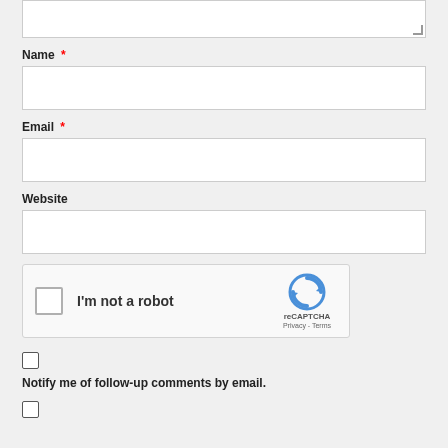[Figure (other): Textarea input box (top portion, partially visible) with resize handle at bottom-right corner]
Name *
[Figure (other): Name text input field, empty, with border]
Email *
[Figure (other): Email text input field, empty, with border]
Website
[Figure (other): Website text input field, empty, with border]
[Figure (other): reCAPTCHA widget with checkbox labeled I'm not a robot, reCAPTCHA logo, Privacy and Terms links]
Notify me of follow-up comments by email.
[Figure (other): Checkbox at bottom, unchecked]